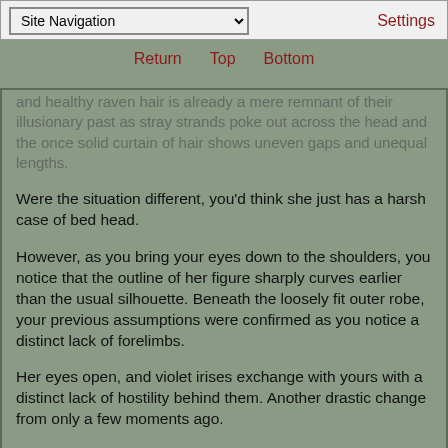Site Navigation | Return | Top | Bottom | Settings
and healthy raven hair is already a mere remnant of their illusionary past as stray strands poke out across the head and the once solid curtain of hair shows uneven gaps and unequal lengths.
Were the situation different, you'd think she just has a harsh case of bed head.
However, as you bring your eyes down to the shoulders, you notice that the outline of her figure sharply curves earlier than the usual silhouette. Beneath the loosely fit outer robe, your previous assumptions were confirmed as you notice a distinct lack of forelimbs.
Her eyes open, and violet irises exchange with yours with a distinct lack of hostility behind them. Another drastic change from only a few moments ago.
Your mind jumps to a conclusion, and you suppress the oncoming feeling of discomfort with a calm, ris...